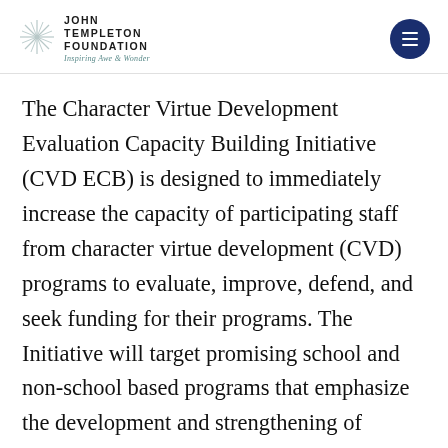John Templeton Foundation — Inspiring Awe & Wonder
The Character Virtue Development Evaluation Capacity Building Initiative (CVD ECB) is designed to immediately increase the capacity of participating staff from character virtue development (CVD) programs to evaluate, improve, defend, and seek funding for their programs. The Initiative will target promising school and non-school based programs that emphasize the development and strengthening of character and virtues such as honesty, generosity, forgiveness, diligence, thrift, joy, curiosity, and